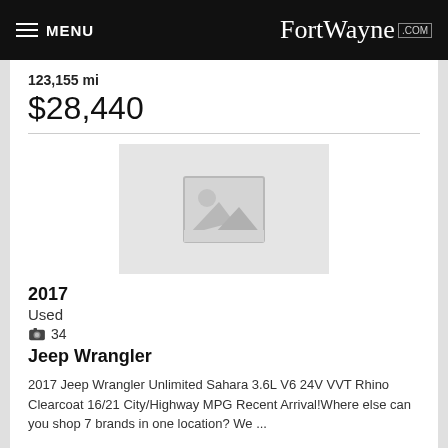MENU FortWayne.com
123,155 mi
$28,440
[Figure (photo): Placeholder image for vehicle listing - grey box with mountain and sun icon]
2017
Used
34
Jeep Wrangler
2017 Jeep Wrangler Unlimited Sahara 3.6L V6 24V VVT Rhino Clearcoat 16/21 City/Highway MPG Recent Arrival!Where else can you shop 7 brands in one location? We ...